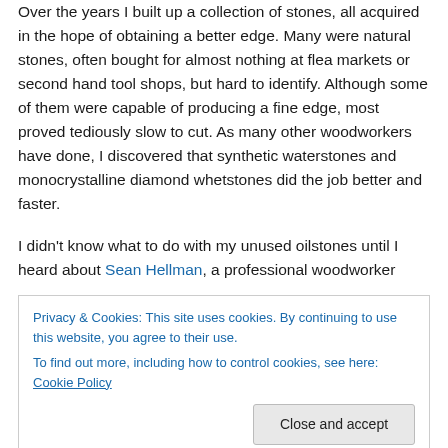Over the years I built up a collection of stones, all acquired in the hope of obtaining a better edge. Many were natural stones, often bought for almost nothing at flea markets or second hand tool shops, but hard to identify. Although some of them were capable of producing a fine edge, most proved tediously slow to cut. As many other woodworkers have done, I discovered that synthetic waterstones and monocrystalline diamond whetstones did the job better and faster.
I didn't know what to do with my unused oilstones until I heard about Sean Hellman, a professional woodworker
Privacy & Cookies: This site uses cookies. By continuing to use this website, you agree to their use.
To find out more, including how to control cookies, see here: Cookie Policy
Close and accept
his growing collection.